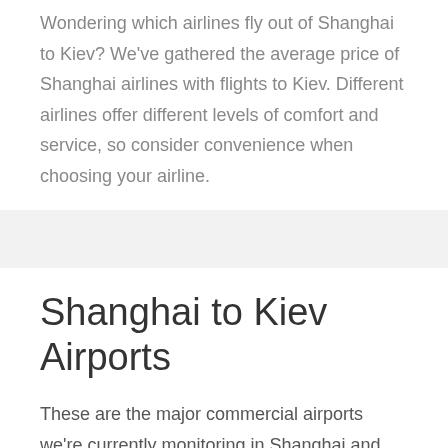Wondering which airlines fly out of Shanghai to Kiev? We've gathered the average price of Shanghai airlines with flights to Kiev. Different airlines offer different levels of comfort and service, so consider convenience when choosing your airline.
Shanghai to Kiev Airports
These are the major commercial airports we're currently monitoring in Shanghai and Kiev. If your route includes a city with multiple airports, you may be able to find substantial savings by choosing an alternate